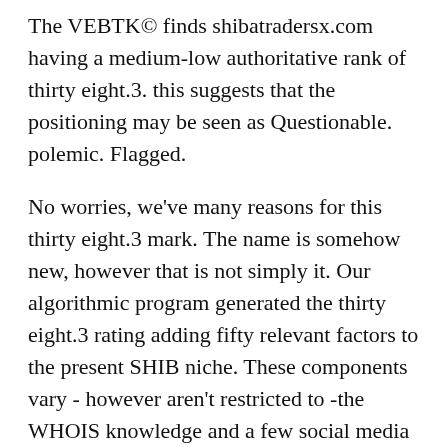The VEBTK© finds shibatradersx.com having a medium-low authoritative rank of thirty eight.3. this suggests that the positioning may be seen as Questionable. polemic. Flagged.
No worries, we've many reasons for this thirty eight.3 mark. The name is somehow new, however that is not simply it. Our algorithmic program generated the thirty eight.3 rating adding fifty relevant factors to the present SHIB niche. These components vary - however aren't restricted to -the WHOIS knowledge and a few social media feedback to Alexa rank and a few of the website's technology.
If you do not recognize what the preceding terms area unit, don't be concerned. we have a tendency to do the work of scanning the net pages, thus you do not got to.